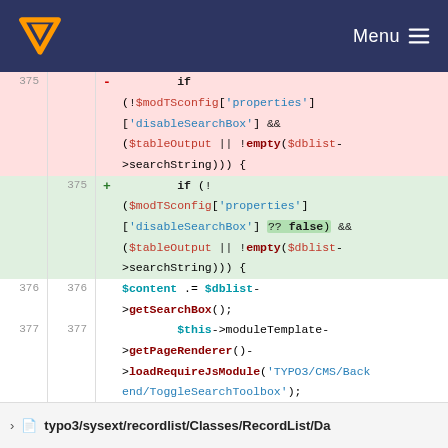[Figure (screenshot): TYPO3 documentation site navbar with orange logo and Menu button on dark blue background]
Code diff showing change in typo3/sysext/recordlist/Classes/RecordList. Line 375 deleted: if (! ($modTSconfig['properties'] ['disableSearchBox'] && ($tableOutput || !empty($dblist->searchString))) {. Line 375 added: if (! ($modTSconfig['properties'] ['disableSearchBox'] ?? false) && ($tableOutput || !empty($dblist->searchString))) {. Line 376: $content .= $dblist->getSearchBox();. Line 377: $this->moduleTemplate->getPageRenderer()->loadRequireJsModule('TYPO3/CMS/Backend/ToggleSearchToolbox');. Line 378: (empty). Ellipsis lines shown.
typo3/sysext/recordlist/Classes/RecordList/Da